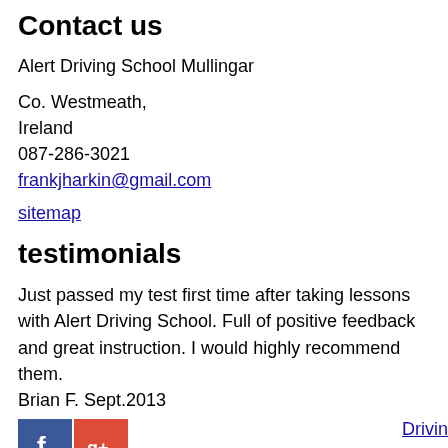Contact us
Alert Driving School Mullingar
Co. Westmeath,
Ireland
087-286-3021
frankjharkin@gmail.com
sitemap
testimonials
Just passed my test first time after taking lessons with Alert Driving School. Full of positive feedback and great instruction. I would highly recommend them.
Brian F. Sept.2013
[Figure (logo): Facebook and Google+ social media icons]
Drivin